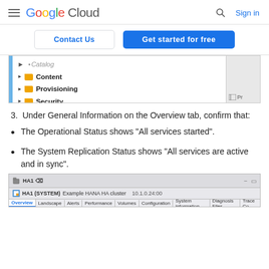Google Cloud   Sign in
[Figure (screenshot): Navigation buttons bar with 'Contact Us' (outlined blue button) and 'Get started for free' (solid blue button)]
[Figure (screenshot): File tree UI showing folder items: (partially visible top item), Content, Provisioning, Security with expand arrows and folder icons, blue left bar, and a panel on the right side]
3. Under General Information on the Overview tab, confirm that:
The Operational Status shows "All services started".
The System Replication Status shows "All services are active and in sync".
[Figure (screenshot): SAP HANA Studio screenshot showing HA1 (SYSTEM) Example HANA HA cluster 10.1.0.24:00 with tabs: Overview, Landscape, Alerts, Performance, Volumes, Configuration, System information, Diagnosis Files, Trace Co... and General Information section partially visible]